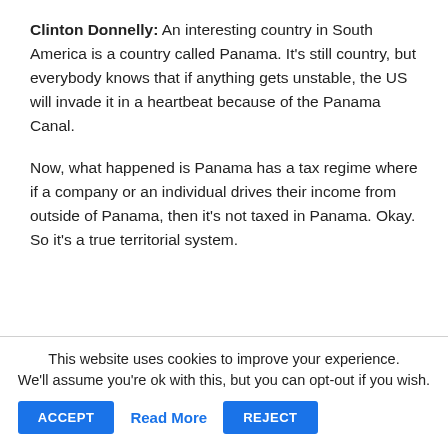Clinton Donnelly: An interesting country in South America is a country called Panama. It's still country, but everybody knows that if anything gets unstable, the US will invade it in a heartbeat because of the Panama Canal.
Now, what happened is Panama has a tax regime where if a company or an individual drives their income from outside of Panama, then it's not taxed in Panama. Okay. So it's a true territorial system.
This website uses cookies to improve your experience. We'll assume you're ok with this, but you can opt-out if you wish. ACCEPT Read More REJECT